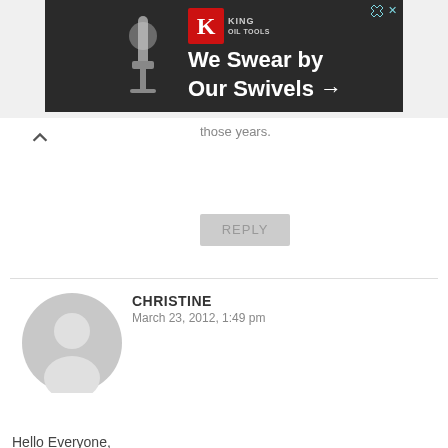[Figure (other): Advertisement banner for King Oil Tools with text 'We Swear by Our Swivels →' and King logo with crown on dark background]
those years.
REPLY
CHRISTINE
March 23, 2012, 1:49 pm
[Figure (illustration): Generic grey user avatar/profile picture placeholder]
Hello Everyone,
Such interesting comments!
I'm looking to interview people about their rock music scene memories on the Gold Coast from the mid-60s to the mid-80s. I'd love to talk with club owners, musicians, and music fans who were there and can tell